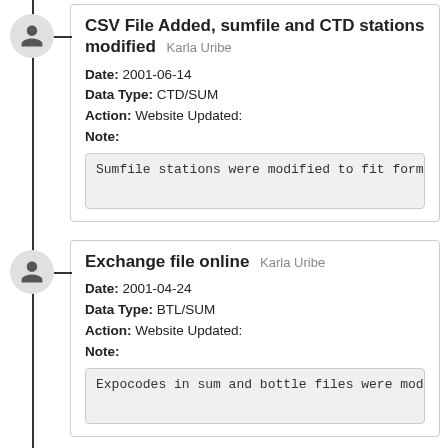CSV File Added, sumfile and CTD stations modified Karla Uribe
Date: 2001-06-14
Data Type: CTD/SUM
Action: Website Updated:
Note:
Sumfile stations were modified to fit forma
Exchange file online Karla Uribe
Date: 2001-04-24
Data Type: BTL/SUM
Action: Website Updated:
Note:
Expocodes in sum and bottle files were modi